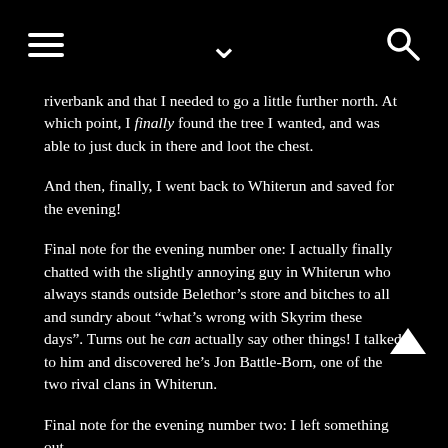[hamburger menu] [chevron down] [search icon]
riverbank and that I needed to go a little further north. At which point, I finally found the tree I wanted, and was able to just duck in there and loot the chest.
And then, finally, I went back to Whiterun and saved for the evening!
Final note for the evening number one: I actually finally chatted with the slightly annoying guy in Whiterun who always stands outside Belethor’s store and bitches to all and sundry about “what’s wrong with Skyrim these days”. Turns out he can actually say other things! I talked to him and discovered he’s Jon Battle-Born, one of the two rival clans in Whiterun.
Final note for the evening number two: I left something out